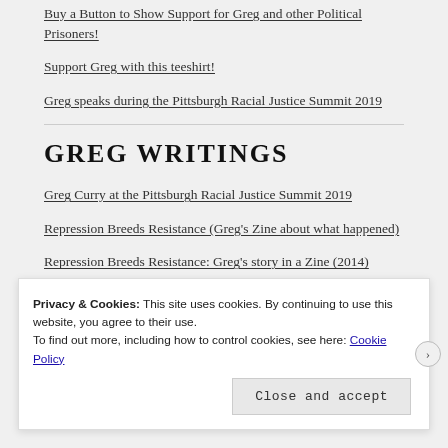Buy a Button to Show Support for Greg and other Political Prisoners!
Support Greg with this teeshirt!
Greg speaks during the Pittsburgh Racial Justice Summit 2019
GREG WRITINGS
Greg Curry at the Pittsburgh Racial Justice Summit 2019
Repression Breeds Resistance (Greg's Zine about what happened)
Repression Breeds Resistance: Greg's story in a Zine (2014)
Privacy & Cookies: This site uses cookies. By continuing to use this website, you agree to their use.
To find out more, including how to control cookies, see here: Cookie Policy
Close and accept